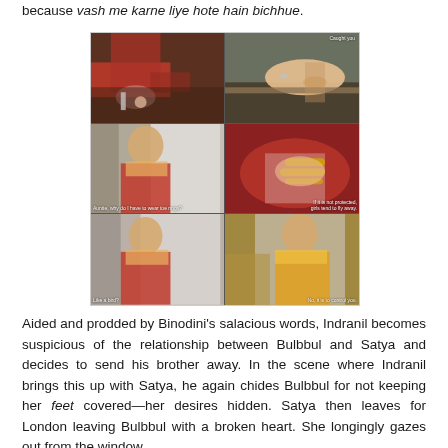because vash me karne liye hote hain bichhue.
[Figure (screenshot): Six-panel grid of video screenshots showing scenes from what appears to be an Indian film or TV show, featuring a woman in a red saree. Panels show close-ups of feet with toe rings, a woman being dressed, hands adjusting jewelry, and subtitles including 'Caught you', 'Auntie, why do I have to wear toe rings?', 'If it is not protected, girls tend to fly away', 'Like a bird?', 'No, it is to control you'.]
Aided and prodded by Binodini’s salacious words, Indranil becomes suspicious of the relationship between Bulbbul and Satya and decides to send his brother away. In the scene where Indranil brings this up with Satya, he again chides Bulbbul for not keeping her feet covered—her desires hidden. Satya then leaves for London leaving Bulbbul with a broken heart. She longingly gazes out from the window,